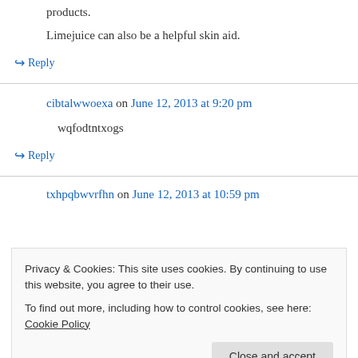products.
Limejuice can also be a helpful skin aid.
↪ Reply
cibtalwwoexa on June 12, 2013 at 9:20 pm
wqfodtntxogs
↪ Reply
txhpqbwvrfhn on June 12, 2013 at 10:59 pm
Privacy & Cookies: This site uses cookies. By continuing to use this website, you agree to their use. To find out more, including how to control cookies, see here: Cookie Policy
Close and accept
contoh toko hadiah ulang tahun buat cewek on June